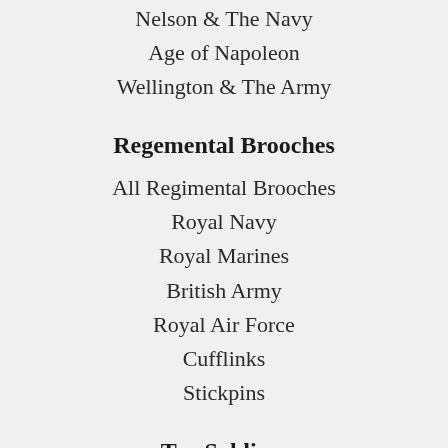Nelson & The Navy
Age of Napoleon
Wellington & The Army
Regemental Brooches
All Regimental Brooches
Royal Navy
Royal Marines
British Army
Royal Air Force
Cufflinks
Stickpins
Toy Soldiers
All Toy Soldiers
Roman Empire
Medieval Knights